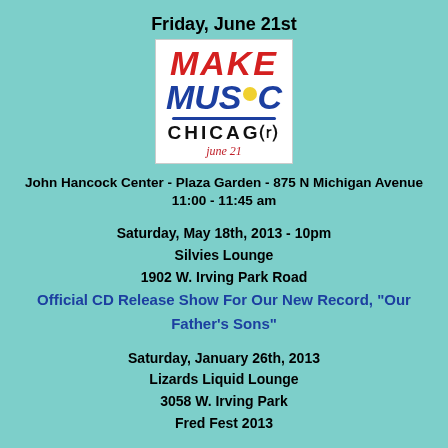Friday, June 21st
[Figure (logo): Make Music Chicago June 21 logo — colorful hand-drawn style text on white background]
John Hancock Center - Plaza Garden - 875 N Michigan Avenue
11:00 - 11:45 am
Saturday, May 18th, 2013 - 10pm
Silvies Lounge
1902 W. Irving Park Road
Official CD Release Show For Our New Record, "Our Father's Sons"
Saturday, January 26th, 2013
Lizards Liquid Lounge
3058 W. Irving Park
Fred Fest 2013